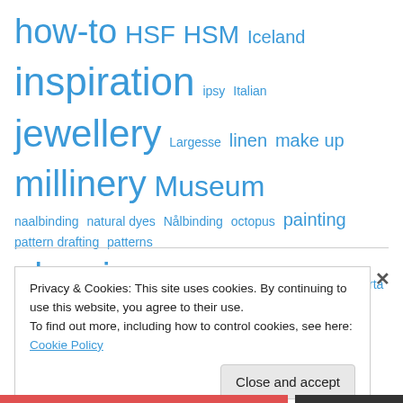[Figure (infographic): Tag cloud with words in varying font sizes in blue: how-to, HSF, HSM, Iceland, inspiration, ipsy, Italian, jewellery, Largesse, linen, make up, millinery, Museum, naalbinding, natural dyes, Nålbinding, octopus, painting, pattern drafting, patterns, planning, purse, Quilting, review, Royal Alberta Museum, SCA, shopping, silk, silver, Throwback Thursday, travel, trim, TUA, Viking, Viking knit, Vikings in BC, wire, wire craft, wool, wool felt]
Privacy & Cookies: This site uses cookies. By continuing to use this website, you agree to their use.
To find out more, including how to control cookies, see here: Cookie Policy
Close and accept